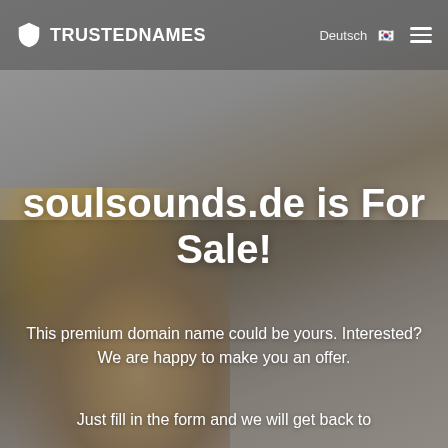[Figure (screenshot): Website screenshot showing TrustedNames domain-for-sale landing page with a muted grey background photo of a woman's face, navigation bar with logo and hamburger menu, and text overlay.]
Deutsch  □□
TRUSTEDNAMES
soulsounds.de is For Sale!
This premium domain name could be yours. Interested? We are happy to make you an offer.
Just fill in the form and we will get back to